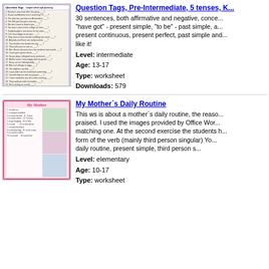[Figure (illustration): Thumbnail of a Question Tags worksheet with purple/lavender background and lined exercises]
Question Tags, Pre-Intermediate, 5 tenses, K...
30 sentences, both affirmative and negative, conce... "have got" - present simple, "to be" - past simple, a... present continuous, present perfect, past simple and... like it!
Level: intermediate
Age: 13-17
Type: worksheet
Downloads: 579
[Figure (illustration): Thumbnail of My Mother's Daily Routine worksheet with pink border and images of mother doing activities]
My Mother´s Daily Routine
This ws is about a mother´s daily routine, the reaso... praised. I used the images provided by Office Wor... matching one. At the second exercise the students h... form of the verb (mainly third person singular) Yo... daily routine, present simple, third person s...
Level: elementary
Age: 10-17
Type: worksheet